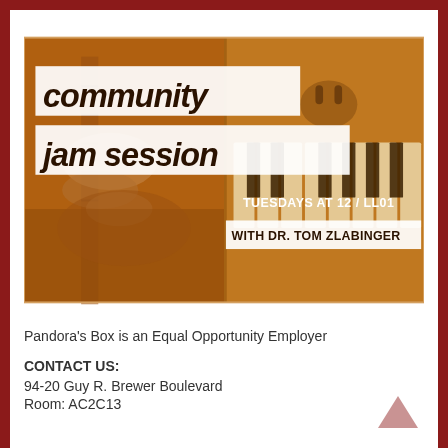[Figure (illustration): Community Jam Session event poster with amber/sepia toned photo of a guitarist and piano keys. Text reads: COMMUNITY JAM SESSION, TUESDAYS AT 12 / LL01, WITH DR. TOM ZLABINGER]
Pandora's Box is an Equal Opportunity Employer
CONTACT US:
94-20 Guy R. Brewer Boulevard
Room: AC2C13